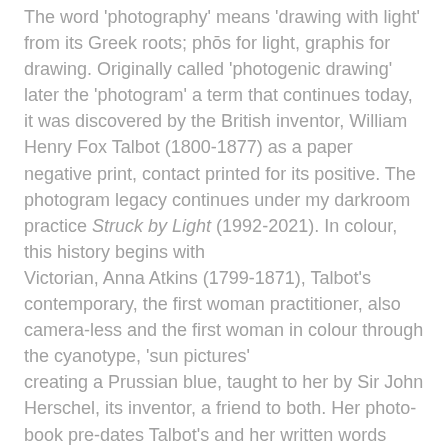The word 'photography' means 'drawing with light' from its Greek roots; phōs for light, graphis for drawing. Originally called 'photogenic drawing' later the 'photogram' a term that continues today, it was discovered by the British inventor, William Henry Fox Talbot (1800-1877) as a paper negative print, contact printed for its positive. The photogram legacy continues under my darkroom practice Struck by Light (1992-2021). In colour, this history begins with Victorian, Anna Atkins (1799-1871), Talbot's contemporary, the first woman practitioner, also camera-less and the first woman in colour through the cyanotype, 'sun pictures' creating a Prussian blue, taught to her by Sir John Herschel, its inventor, a friend to both. Her photo-book pre-dates Talbot's and her written words under her botanical specimens, point to the future in 'word art'. Anna Atkins